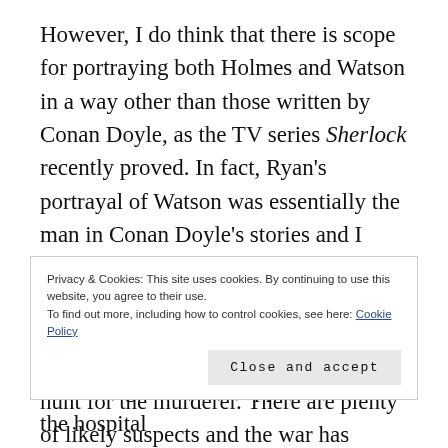However, I do think that there is scope for portraying both Holmes and Watson in a way other than those written by Conan Doyle, as the TV series Sherlock recently proved. In fact, Ryan's portrayal of Watson was essentially the man in Conan Doyle's stories and I thought the writer did a good job in capturing the essence of the character. Watson come across as both compassionate and tenacious in the hunt for the murderer. There are plenty of likely suspects and the war has attracted people from around the world, not all of whom are in France for idealistic reasons...
Privacy & Cookies: This site uses cookies. By continuing to use this website, you agree to their use. To find out more, including how to control cookies, see here: Cookie Policy
Close and accept
who shrugs off the disapproval from the hospital